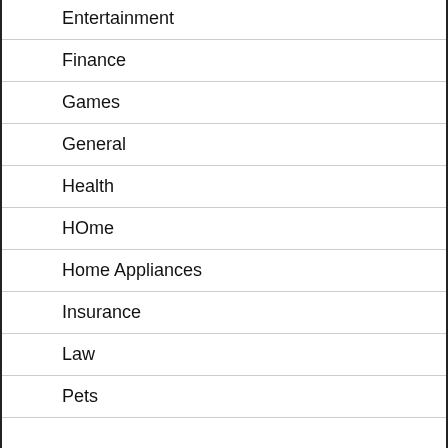Entertainment
Finance
Games
General
Health
HOme
Home Appliances
Insurance
Law
Pets